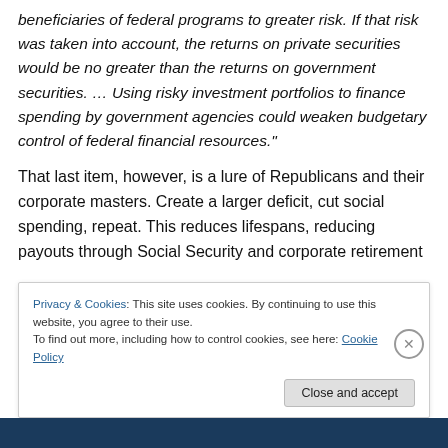beneficiaries of federal programs to greater risk. If that risk was taken into account, the returns on private securities would be no greater than the returns on government securities. … Using risky investment portfolios to finance spending by government agencies could weaken budgetary control of federal financial resources."
That last item, however, is a lure of Republicans and their corporate masters. Create a larger deficit, cut social spending, repeat. This reduces lifespans, reducing payouts through Social Security and corporate retirement
Privacy & Cookies: This site uses cookies. By continuing to use this website, you agree to their use.
To find out more, including how to control cookies, see here: Cookie Policy